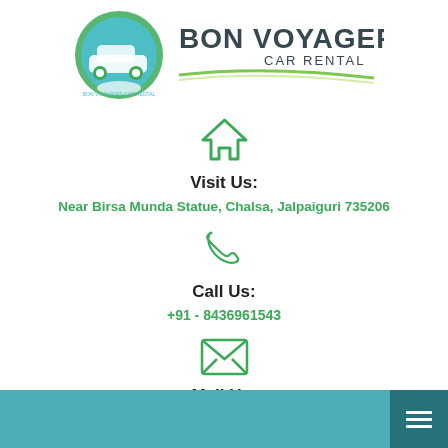[Figure (logo): Bon Voyagers Car Rental logo with car and hands icon on left and bold text on right with green swoosh]
[Figure (illustration): Green house/home icon]
Visit Us:
Near Birsa Munda Statue, Chalsa, Jalpaiguri 735206
[Figure (illustration): Green phone/call icon]
Call Us:
+91 - 8436961543
[Figure (illustration): Green envelope/mail icon]
Mail Us:
doorstoursltd@gmail.com